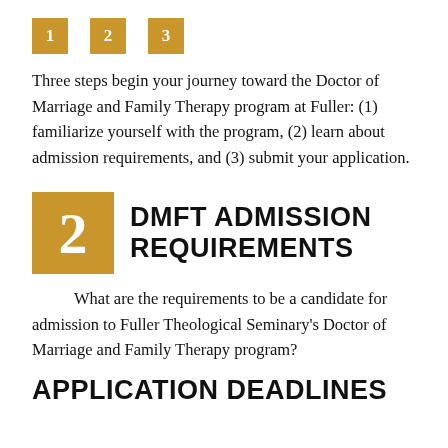[Figure (infographic): Three numbered golden/amber square badges showing step numbers 1, 2, 3 in a row]
Three steps begin your journey toward the Doctor of Marriage and Family Therapy program at Fuller: (1) familiarize yourself with the program, (2) learn about admission requirements, and (3) submit your application.
2 DMFT ADMISSION REQUIREMENTS
What are the requirements to be a candidate for admission to Fuller Theological Seminary's Doctor of Marriage and Family Therapy program?
APPLICATION DEADLINES